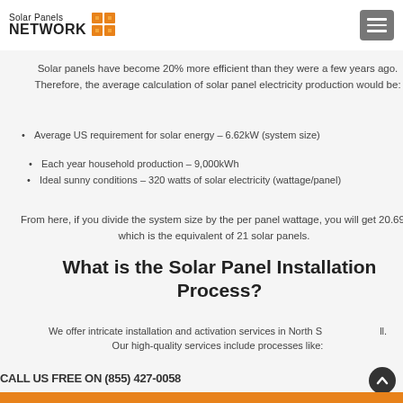Solar Panels NETWORK
Solar panels have become 20% more efficient than they were a few years ago. Therefore, the average calculation of solar panel electricity production would be:
Average US requirement for solar energy – 6.62kW (system size)
Each year household production – 9,000kWh
Ideal sunny conditions – 320 watts of solar electricity (wattage/panel)
From here, if you divide the system size by the per panel wattage, you will get 20.69, which is the equivalent of 21 solar panels.
What is the Solar Panel Installation Process?
We offer intricate installation and activation services in North S...ll.
Our high-quality services include processes like:
CALL US FREE ON (855) 427-0058